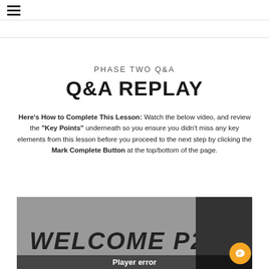☰
PHASE TWO Q&A
Q&A REPLAY
Here's How to Complete This Lesson: Watch the below video, and review the "Key Points" underneath so you ensure you didn't miss any key elements from this lesson before you proceed to the next step by clicking the Mark Complete Button at the top/bottom of the page.
[Figure (screenshot): Video player showing handwritten text 'WELCOME P2' with player error message and orange chat button]